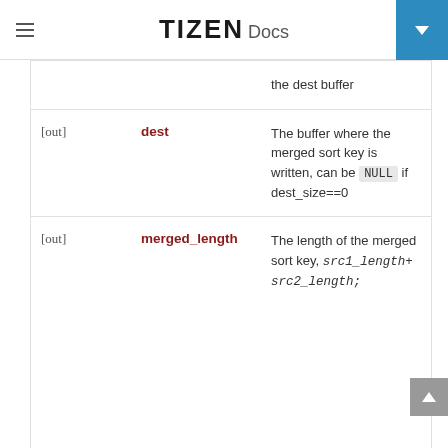TIZEN Docs
| Direction | Parameter | Description |
| --- | --- | --- |
| [out] | dest | The buffer where the merged sort key is written, can be NULL if dest_size==0 |
| [out] | merged_length | The length of the merged sort key, src1_length+src2_length; |